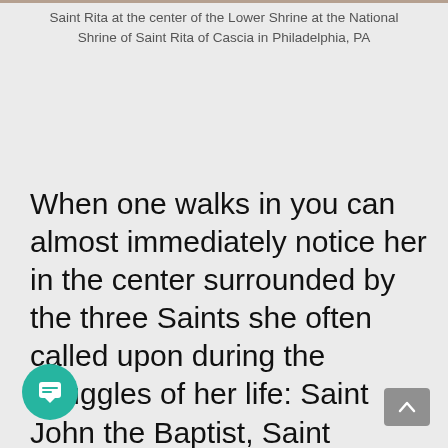Saint Rita at the center of the Lower Shrine at the National Shrine of Saint Rita of Cascia in Philadelphia, PA
When one walks in you can almost immediately notice her in the center surrounded by the three Saints she often called upon during the struggles of her life: Saint John the Baptist, Saint Augustine, and Saint Nicholas of Tolentino.